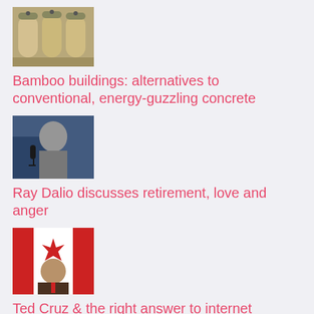[Figure (photo): Bamboo building structures, cone-shaped pavilions]
Bamboo buildings: alternatives to conventional, energy-guzzling concrete
[Figure (photo): Ray Dalio speaking at a podium, black and white]
Ray Dalio discusses retirement, love and anger
[Figure (photo): Ted Cruz speaking with Canadian flag behind him]
Ted Cruz & the right answer to internet companies
[Figure (photo): New York City building facade, stone architecture]
Scenes from a New York City skyline, reimagined by the